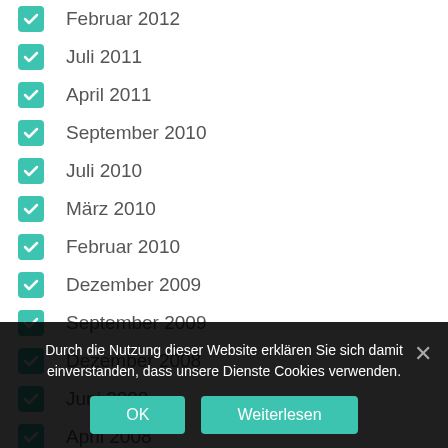Februar 2012
Juli 2011
April 2011
September 2010
Juli 2010
März 2010
Februar 2010
Dezember 2009
September 2009
Dezember 2008
Juni 2008
April 2008
Durch die Nutzung dieser Website erklären Sie sich damit einverstanden, dass unsere Dienste Cookies verwenden.